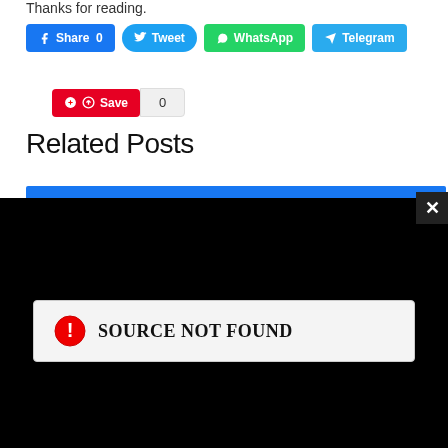Thanks for reading.
[Figure (screenshot): Social share buttons: Facebook Share 0, Tweet, WhatsApp, Telegram, Pinterest Save with count 0]
Related Posts
[Figure (screenshot): Video player area showing black screen with SOURCE NOT FOUND error message and a close (X) button in top right corner]